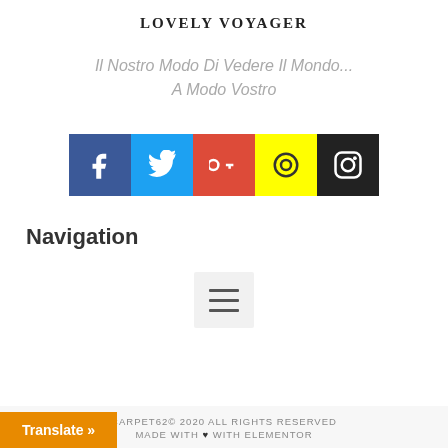Lovely Voyager
Il Nostro Modo Di Vedere Il Mondo...
A Modo Vostro
[Figure (infographic): Row of 5 social media icon buttons: Facebook (dark blue, f), Twitter (light blue, bird), Google+ (red, g+), YouTube/other (yellow, circle play), Instagram (black, camera icon)]
Navigation
[Figure (other): Hamburger menu icon (three horizontal lines) in a light gray square button]
CARPET62© 2020 ALL RIGHTS RESERVED
MADE WITH ♥ WITH ELEMENTOR
Translate »